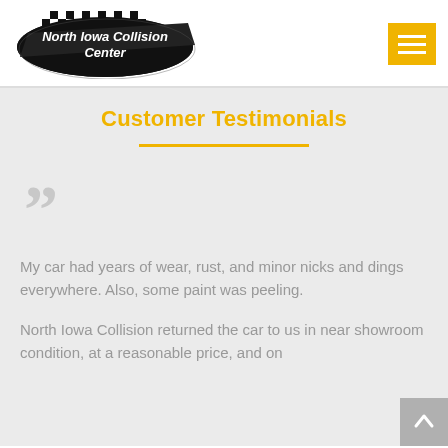[Figure (logo): North Iowa Collision Center logo — black oval with checkered flag pattern and white bold italic text reading 'North Iowa Collision Center']
[Figure (other): Yellow/gold hamburger menu button with three white horizontal lines]
Customer Testimonials
My car had years of wear, rust, and minor nicks and dings everywhere. Also, some paint was peeling.
North Iowa Collision returned the car to us in near showroom condition, at a reasonable price, and on